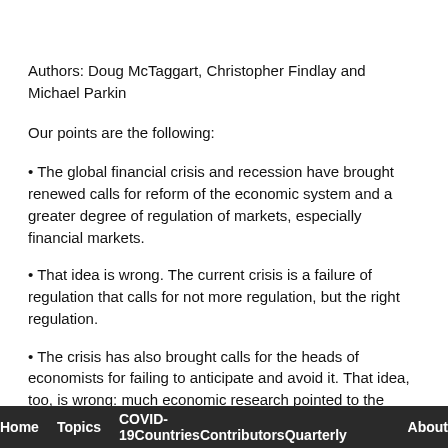Authors: Doug McTaggart, Christopher Findlay and Michael Parkin
Our points are the following:
• The global financial crisis and recession have brought renewed calls for reform of the economic system and a greater degree of regulation of markets, especially financial markets.
• That idea is wrong. The current crisis is a failure of regulation that calls for not more regulation, but the right regulation.
• The crisis has also brought calls for the heads of economists for failing to anticipate and avoid it. That idea, too, is wrong: much economic research pointed to the emerging problem.
• More economic research (and teaching), not less, is the best
Home   Topics   COVID-19CountriesContributorsQuarterly   About